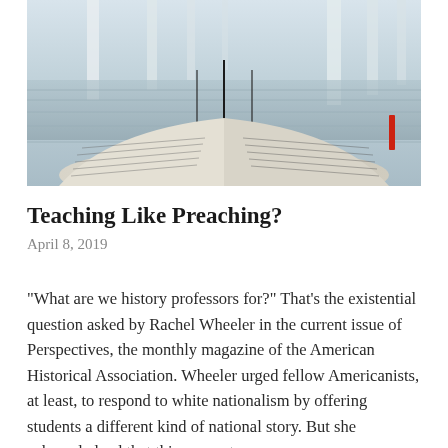[Figure (photo): Photo of an open book with two pages spread, set against a background of a hallway with columns and tiled floor visible behind it.]
Teaching Like Preaching?
April 8, 2019
“What are we history professors for?” That’s the existential question asked by Rachel Wheeler in the current issue of Perspectives, the monthly magazine of the American Historical Association. Wheeler urged fellow Americanists, at least, to respond to white nationalism by offering students a different kind of national story. But she acknowledged that this was not